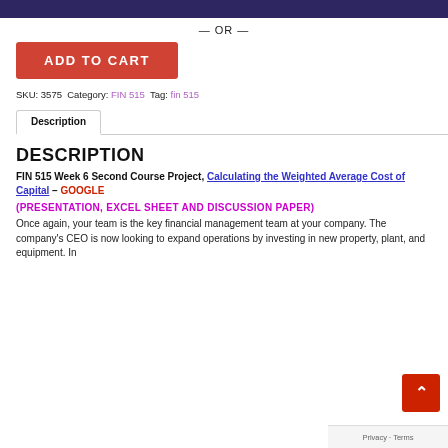[Figure (other): Top dark navy/purple banner bar]
— OR —
ADD TO CART
SKU: 3575  Category: FIN 515  Tag: fin 515
Description
DESCRIPTION
FIN 515 Week 6 Second Course Project, Calculating the Weighted Average Cost of Capital – GOOGLE
(PRESENTATION, EXCEL SHEET AND DISCUSSION PAPER)
Once again, your team is the key financial management team at your company. The company's CEO is now looking to expand operations by investing in new property, plant, and equipment. In